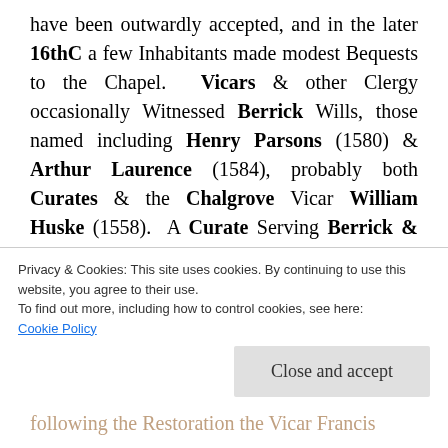have been outwardly accepted, and in the later 16thC a few Inhabitants made modest Bequests to the Chapel. Vicars & other Clergy occasionally Witnessed Berrick Wills, those named including Henry Parsons (1580) & Arthur Laurence (1584), probably both Curates & the Chalgrove Vicar William Huske (1558). A Curate Serving Berrick & Benson in 1586 was reportedly 'of mean ability', but a fellow of Jesus College, Oxford, was Licensed as Curate in 1633, and in 1651, during the Interregnum,
Privacy & Cookies: This site uses cookies. By continuing to use this website, you agree to their use.
To find out more, including how to control cookies, see here:
Cookie Policy
Close and accept
following the Restoration the Vicar Francis